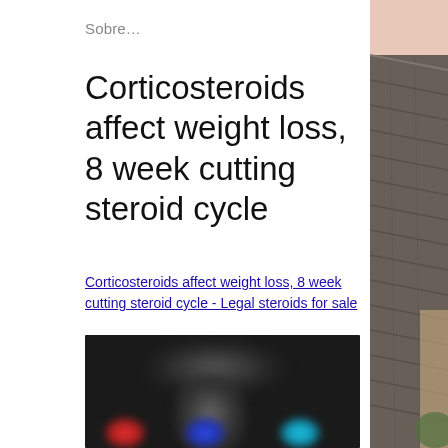Sobre...
Corticosteroids affect weight loss, 8 week cutting steroid cycle
Corticosteroids affect weight loss, 8 week cutting steroid cycle - Legal steroids for sale
[Figure (photo): Blurred dark image, appears to show a person silhouette with colorful blurred spots at the bottom (red, blue, teal)]